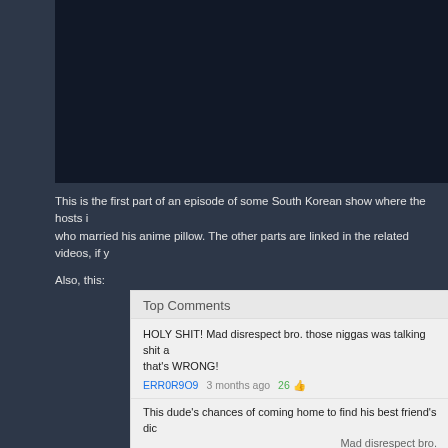[Figure (screenshot): Black video player area embedded in a dark webpage]
This is the first part of an episode of some South Korean show where the hosts i... who married his anime pillow. The other parts are linked in the related videos, if y...
Also, this:
Top Comments
HOLY SHIT! Mad disrespect bro. those niggas was talking shit a... that's WRONG!
ERR0R9O9   3 months ago   26
This dude's chances of coming home to find his best friend's dic... Testarossa's mouth is zilch.

Live the dream, brah.
Y10NRDY   7 months ago   10
Mad disrespect bro.